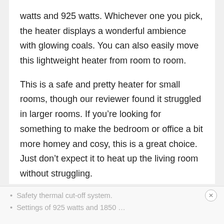watts and 925 watts. Whichever one you pick, the heater displays a wonderful ambience with glowing coals. You can also easily move this lightweight heater from room to room.
This is a safe and pretty heater for small rooms, though our reviewer found it struggled in larger rooms. If you're looking for something to make the bedroom or office a bit more homey and cosy, this is a great choice. Just don't expect it to heat up the living room without struggling.
Pros
Safety thermal cut-off system.